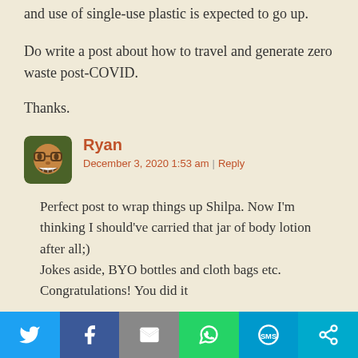and use of single-use plastic is expected to go up.
Do write a post about how to travel and generate zero waste post-COVID.
Thanks.
Ryan
December 3, 2020 1:53 am | Reply
Perfect post to wrap things up Shilpa. Now I'm thinking I should've carried that jar of body lotion after all;)
Jokes aside, BYO bottles and cloth bags etc.
Congratulations! You did it